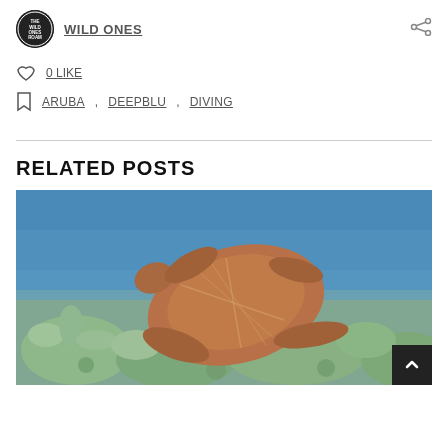WILD ONES
0 LIKE
ARUBA, DEEPBLU, DIVING
RELATED POSTS
[Figure (photo): Underwater photo of a sea turtle swimming over a coral reef]